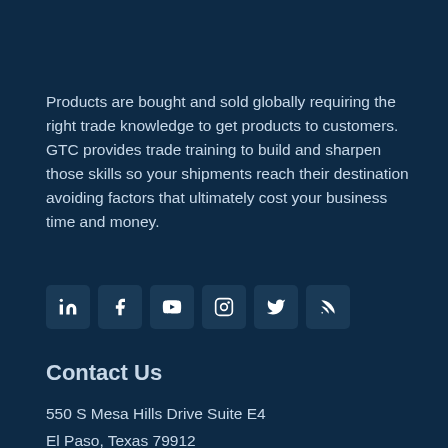Products are bought and sold globally requiring the right trade knowledge to get products to customers.
GTC provides trade training to build and sharpen those skills so your shipments reach their destination avoiding factors that ultimately cost your business time and money.
[Figure (infographic): Row of six social media icon buttons: LinkedIn, Facebook, YouTube, Instagram, Twitter, RSS feed — white icons on dark navy rounded square backgrounds]
Contact Us
550 S Mesa Hills Drive Suite E4
El Paso, Texas 79912